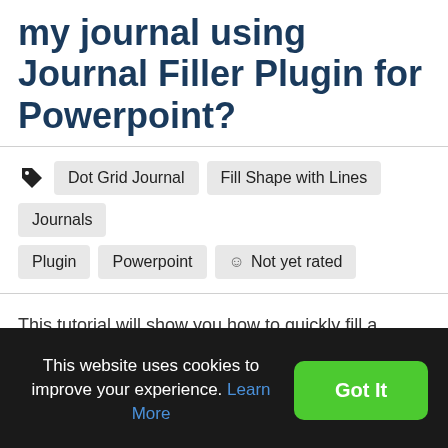my journal using Journal Filler Plugin for Powerpoint?
Dot Grid Journal
Fill Shape with Lines
Journals
Plugin
Powerpoint
Not yet rated
This tutorial will show you how to quickly fill a shape in Powerpoint with lines, dots or squares.
As you know, each 'page' in Powerpoint is called a slide.
This website uses cookies to improve your experience. Learn More
Got It